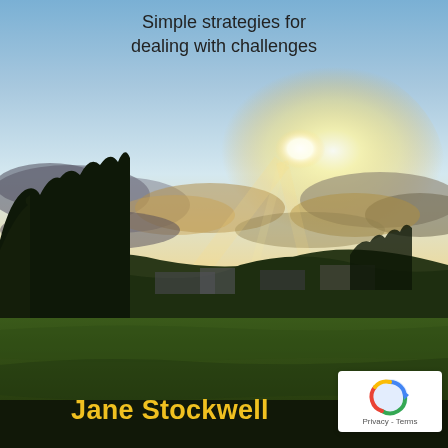Simple strategies for dealing with challenges
[Figure (photo): Outdoor landscape photograph showing a sunset over rolling hills and fields with trees in the foreground, dramatic cloudy sky with golden light, rural buildings visible in the middle distance]
Jane Stockwell